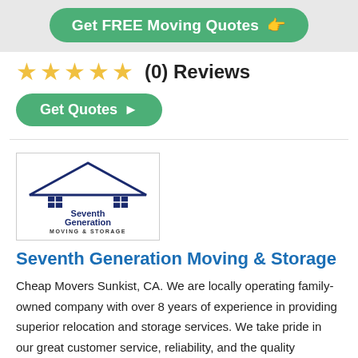[Figure (other): Green pill-shaped button with white bold text 'Get FREE Moving Quotes' and a hand/pointing finger icon on the right, on a light gray background]
[Figure (other): Five outlined star icons in gold/yellow color followed by '(0) Reviews' text]
[Figure (other): Green pill-shaped button with white bold text 'Get Quotes' and a right-pointing arrow]
[Figure (logo): Seventh Generation Moving & Storage logo: dark blue house/roof outline with two window squares, text 'Seventh Generation MOVING & STORAGE' below]
Seventh Generation Moving & Storage
Cheap Movers Sunkist, CA. We are locally operating family-owned company with over 8 years of experience in providing superior relocation and storage services. We take pride in our great customer service, reliability, and the quality services we
...